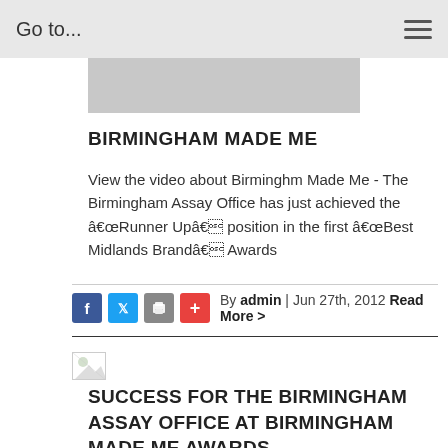Go to...
[Figure (photo): Gray image placeholder banner]
BIRMINGHAM MADE ME
View the video about Birminghm Made Me - The Birmingham Assay Office has just achieved the ‘Runner Up’ position in the first ‘Best Midlands Brand’ Awards
By admin | Jun 27th, 2012 Read More >
[Figure (photo): Small broken image icon placeholder]
SUCCESS FOR THE BIRMINGHAM ASSAY OFFICE AT BIRMINGHAM MADE ME AWARDS